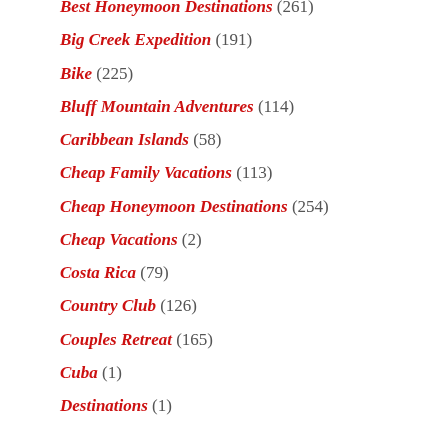Best Honeymoon Destinations (261)
Big Creek Expedition (191)
Bike (225)
Bluff Mountain Adventures (114)
Caribbean Islands (58)
Cheap Family Vacations (113)
Cheap Honeymoon Destinations (254)
Cheap Vacations (2)
Costa Rica (79)
Country Club (126)
Couples Retreat (165)
Cuba (1)
Destinations (1)